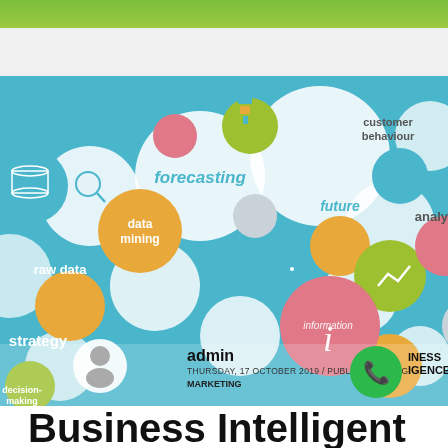[Figure (illustration): Business Intelligence infographic hero image with colorful circles/bubbles containing terms: forecasting, future, customer behaviour, analysis, data mining, raw data, strategy, decision-making, information, with icons for analytics, database, eye, chart]
admin
THURSDAY, 17 OCTOBER 2019  /  PUBLISHED IN DIG... MARKETING
Business Intelligent